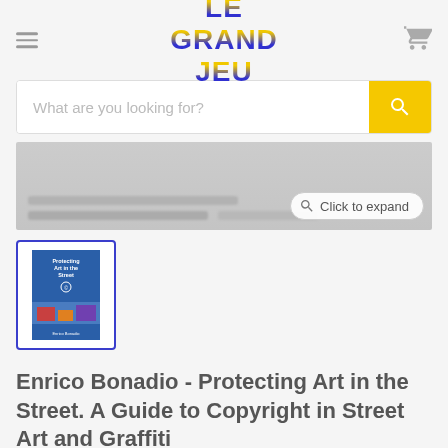[Figure (logo): Le Grand Jeu logo in blue and gold gradient text]
What are you looking for?
[Figure (screenshot): Partially visible blurred book preview with 'Click to expand' button]
[Figure (photo): Thumbnail of book cover: Protecting Art in the Street]
Enrico Bonadio - Protecting Art in the Street. A Guide to Copyright in Street Art and Graffiti
€15.00